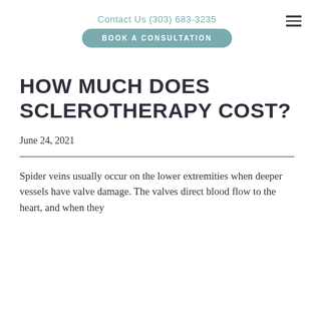Contact Us (303) 683-3235
BOOK A CONSULTATION
HOW MUCH DOES SCLEROTHERAPY COST?
June 24, 2021
Spider veins usually occur on the lower extremities when deeper vessels have valve damage. The valves direct blood flow to the heart, and when they